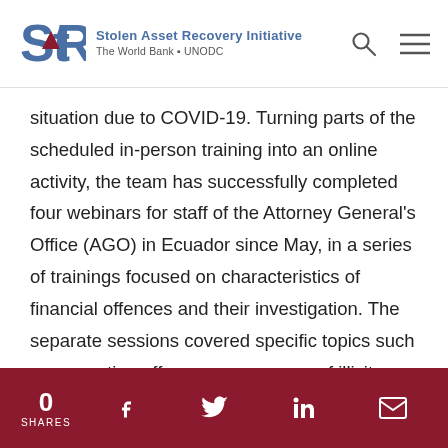Stolen Asset Recovery Initiative — The World Bank • UNODC
situation due to COVID-19. Turning parts of the scheduled in-person training into an online activity, the team has successfully completed four webinars for staff of the Attorney General's Office (AGO) in Ecuador since May, in a series of trainings focused on characteristics of financial offences and their investigation. The separate sessions covered specific topics such as corruption offences as a source of illicit assets, non bis in idem in corruption offences, self-laundering and strategies for the tracing and
0 SHARES